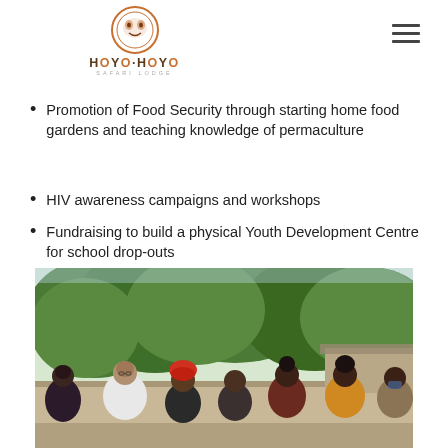Hoyo-Hoyo Safari Lodge
Promotion of Food Security through starting home food gardens and teaching knowledge of permaculture
HIV awareness campaigns and workshops
Fundraising to build a physical Youth Development Centre for school drop-outs
[Figure (photo): Group photo of several young people and an adult woman smiling outdoors in front of a wall and trees]